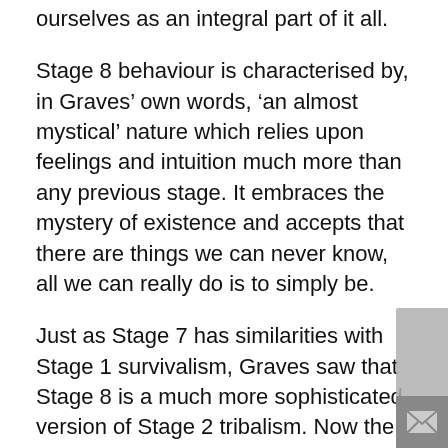ourselves as an integral part of it all.
Stage 8 behaviour is characterised by, in Graves’ own words, ‘an almost mystical’ nature which relies upon feelings and intuition much more than any previous stage. It embraces the mystery of existence and accepts that there are things we can never know, all we can really do is to simply be.
Just as Stage 7 has similarities with Stage 1 survivalism, Graves saw that Stage 8 is a much more sophisticated version of Stage 2 tribalism. Now the tribe is humanity itself and our sacred land is planet Earth. There’s a trend towards a non-interfering, minimalistic lifestyle that’s in harmony with nature, while maintaining all the advantages of our high technology. There’s also an acceptance that the human tribe includes a wide variety